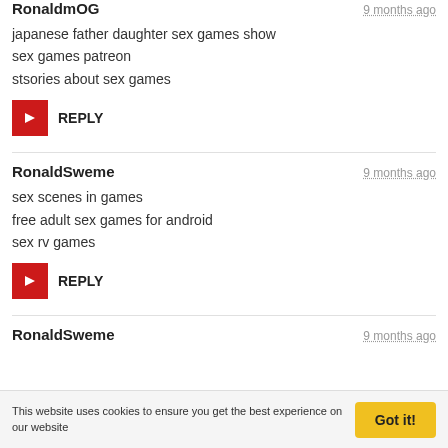RonaldmOG — 9 months ago
japanese father daughter sex games show
sex games patreon
stsories about sex games
REPLY
RonaldSweme — 9 months ago
sex scenes in games
free adult sex games for android
sex rv games
REPLY
RonaldSweme — 9 months ago
This website uses cookies to ensure you get the best experience on our website